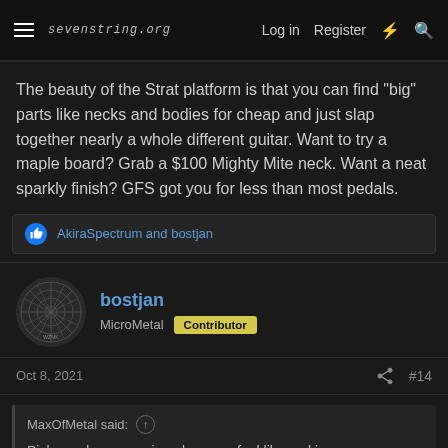sevenstring.org   Log in   Register
The beauty of the Strat platform is that you can find "big" parts like necks and bodies for cheap and just slap together nearly a whole different guitar. Want to try a maple board? Grab a $100 Mighty Mite neck. Want a neat sparkly finish? GFS got you for less than most pedals.
AkiraSpectrum and bostjan
bostjan
MicroMetal  Contributor
Oct 8, 2021   #14
MaxOfMetal said:
Pickguards are a pain unless you feel like making your own, which isn't